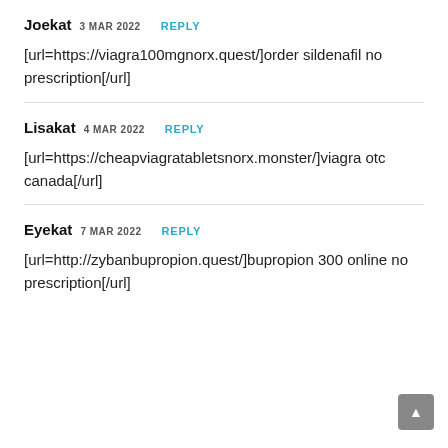Joekat 3 MAR 2022 REPLY
[url=https://viagra100mgnorx.quest/]order sildenafil no prescription[/url]
Lisakat 4 MAR 2022 REPLY
[url=https://cheapviagratabletsnorx.monster/]viagra otc canada[/url]
Eyekat 7 MAR 2022 REPLY
[url=http://zybanbupropion.quest/]bupropion 300 online no prescription[/url]